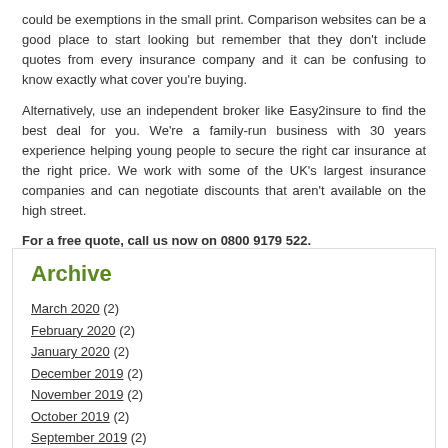could be exemptions in the small print. Comparison websites can be a good place to start looking but remember that they don't include quotes from every insurance company and it can be confusing to know exactly what cover you're buying.
Alternatively, use an independent broker like Easy2insure to find the best deal for you. We're a family-run business with 30 years experience helping young people to secure the right car insurance at the right price. We work with some of the UK's largest insurance companies and can negotiate discounts that aren't available on the high street.
For a free quote, call us now on 0800 9179 522.
Archive
March 2020 (2)
February 2020 (2)
January 2020 (2)
December 2019 (2)
November 2019 (2)
October 2019 (2)
September 2019 (2)
August 2019 (2)